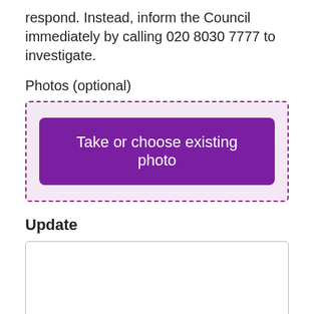respond. Instead, inform the Council immediately by calling 020 8030 7777 to investigate.
Photos (optional)
[Figure (screenshot): Photo upload area with dashed purple border and a purple button labeled 'Take or choose existing photo']
Update
[Figure (screenshot): Empty text input box for update field]